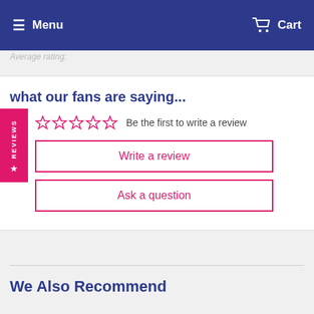Menu  Cart
Average rating:
what our fans are saying...
Be the first to write a review
Write a review
Ask a question
We Also Recommend